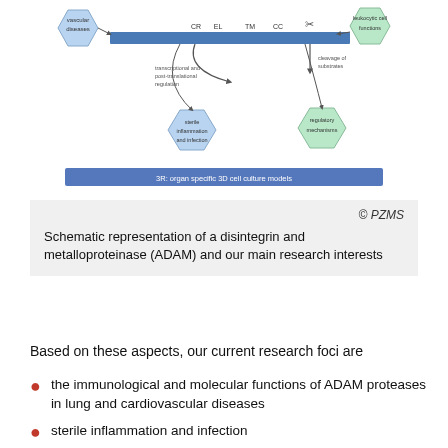[Figure (schematic): Schematic diagram of a disintegrin and metalloproteinase (ADAM) protein structure showing domains (CR, TM, CC) with arrows indicating transcriptional and post-translational regulation, cleavage of substrates, connections to vascular diseases, sterile inflammation and infection, leukocytic cell functions, regulatory mechanisms, and 3R: organ specific 3D cell culture models label at bottom.]
© PZMS
Schematic representation of a disintegrin and metalloproteinase (ADAM) and our main research interests
Based on these aspects, our current research foci are
the immunological and molecular functions of ADAM proteases in lung and cardiovascular diseases
sterile inflammation and infection
the regulation of cell-specific functions